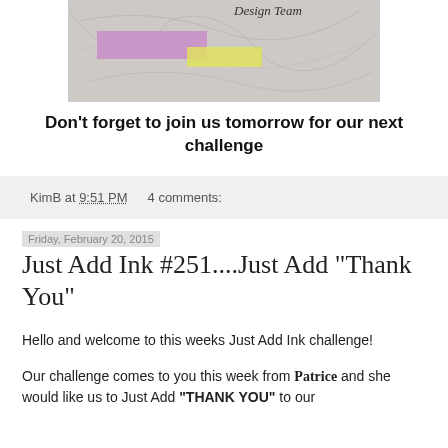[Figure (illustration): Design Team badge image with script text 'Design Team', purple and yellow rectangular strips over gray textured background with scribble lines]
Don't forget to join us tomorrow for our next challenge
KimB at 9:51 PM    4 comments:
Friday, February 20, 2015
Just Add Ink #251....Just Add "Thank You"
Hello and welcome to this weeks Just Add Ink challenge!
Our challenge comes to you this week from Patrice and she would like us to Just Add "THANK YOU" to our